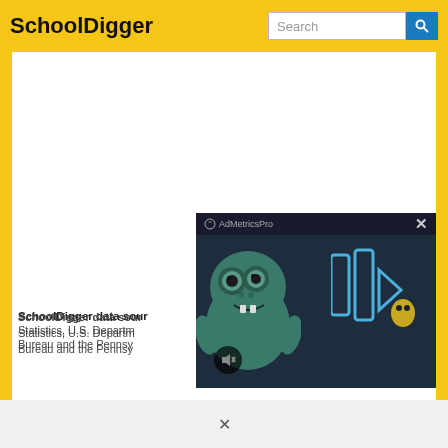SchoolDigger
[Figure (screenshot): SchoolDigger website screenshot with yellow header bar, search box, and main content area showing an ad placeholder region and a video overlay popup from AdMetricsPro featuring an animated monster character with play button graphics and a mute button]
SchoolDigger data sour... Statistics, U.S. Departm... Bureau and the Pennsy...